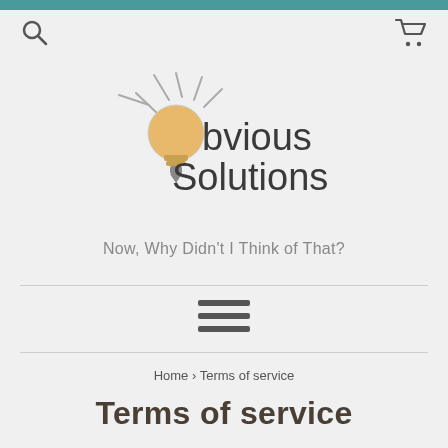[Figure (logo): Obvious Solutions logo with a lightbulb graphic on the left and text 'Obvious Solutions' on the right]
Now, Why Didn't I Think of That?
[Figure (other): Hamburger menu icon with three horizontal bars]
Home › Terms of service
Terms of service